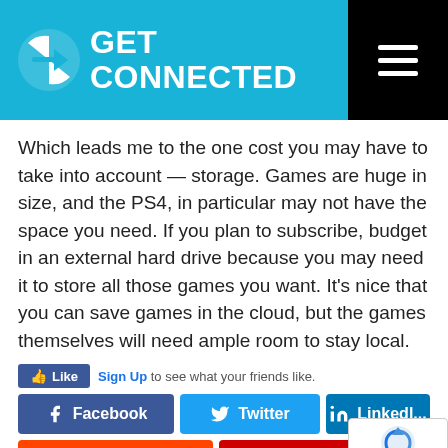GET CONNECTED
Which leads me to the one cost you may have to take into account — storage. Games are huge in size, and the PS4, in particular may not have the space you need. If you plan to subscribe, budget in an external hard drive because you may need it to store all those games you want. It's nice that you can save games in the cloud, but the games themselves will need ample room to stay local.
Like Sign Up to see what your friends like.
Facebook  Twitter  LinkedIn  Reddit  Email